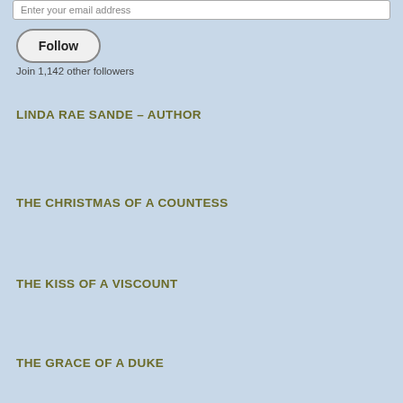Enter your email address
Follow
Join 1,142 other followers
LINDA RAE SANDE – AUTHOR
THE CHRISTMAS OF A COUNTESS
THE KISS OF A VISCOUNT
THE GRACE OF A DUKE